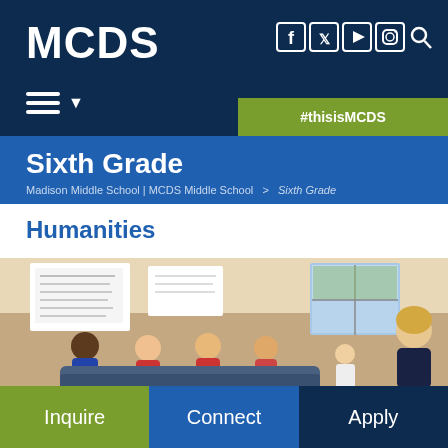MCDS
Sixth Grade
Madison Middle School | MCDS Middle School  >  Sixth Grade
Humanities
[Figure (photo): Classroom scene with students sitting and listening to a female teacher speaking at the front of the room. Whiteboards and poster paper visible in the background.]
Inquire | Connect | Apply